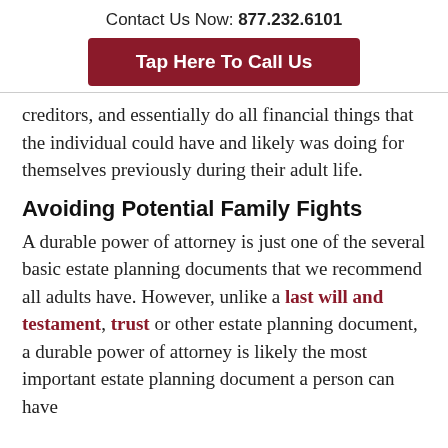Contact Us Now: 877.232.6101
Tap Here To Call Us
creditors, and essentially do all financial things that the individual could have and likely was doing for themselves previously during their adult life.
Avoiding Potential Family Fights
A durable power of attorney is just one of the several basic estate planning documents that we recommend all adults have. However, unlike a last will and testament, trust or other estate planning document, a durable power of attorney is likely the most important estate planning document a person can have